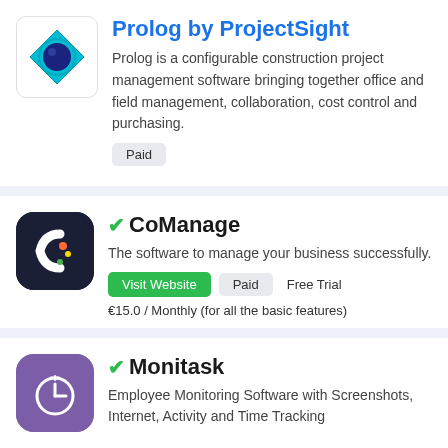[Figure (logo): Prolog by ProjectSight logo - diamond/eye shape with teal and dark blue colors]
Prolog by ProjectSight
Prolog is a configurable construction project management software bringing together office and field management, collaboration, cost control and purchasing.
Paid
[Figure (logo): CoManage logo - dark navy rounded square with stylized C letter in white]
CoManage
The software to manage your business successfully.
Visit Website  Paid  Free Trial
€15.0 / Monthly (for all the basic features)
[Figure (logo): Monitask logo - purple rounded square with clock/L icon in white]
Monitask
Employee Monitoring Software with Screenshots, Internet, Activity and Time Tracking